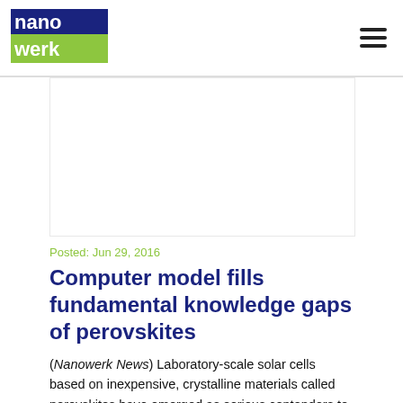nanowerk [logo] [hamburger menu]
Posted: Jun 29, 2016
Computer model fills fundamental knowledge gaps of perovskites
(Nanowerk News) Laboratory-scale solar cells based on inexpensive, crystalline materials called perovskites have emerged as serious contenders to silicon in